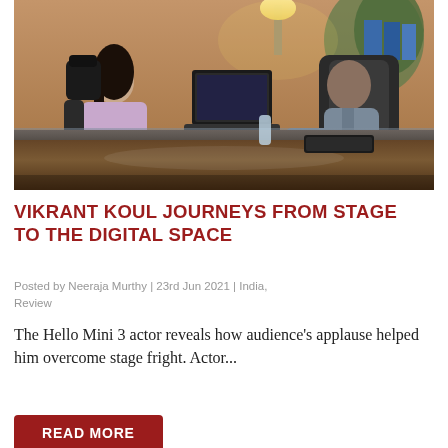[Figure (photo): Scene from Hello Mini 3: a woman in a lavender outfit seated across a large executive desk from a man in a grey blazer who is working on a laptop, in a warmly lit office with plants and bookshelves in the background.]
VIKRANT KOUL JOURNEYS FROM STAGE TO THE DIGITAL SPACE
Posted by Neeraja Murthy | 23rd Jun 2021 | India, Review
The Hello Mini 3 actor reveals how audience's applause helped him overcome stage fright. Actor...
READ MORE